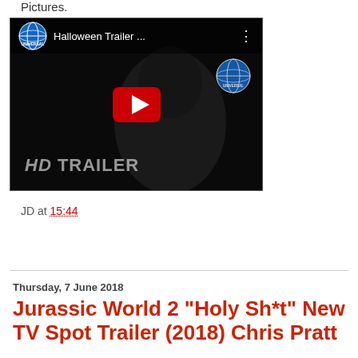Pictures.
[Figure (screenshot): YouTube video thumbnail showing 'Halloween Trailer ...' by Universal Pictures, with a dark background, red YouTube play button, HD TRAILER text, and Universal logo.]
JD at 15:44
Share
Thursday, 7 June 2018
Jurassic World 2 "Holy Sh*t" New TV Spot Trailer (2018) Chris Pratt Pictures (partial)